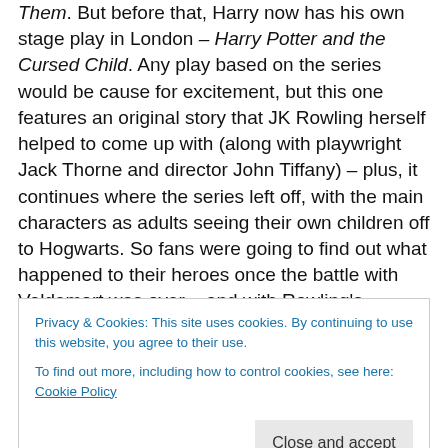Them. But before that, Harry now has his own stage play in London – Harry Potter and the Cursed Child. Any play based on the series would be cause for excitement, but this one features an original story that JK Rowling herself helped to come up with (along with playwright Jack Thorne and director John Tiffany) – plus, it continues where the series left off, with the main characters as adults seeing their own children off to Hogwarts. So fans were going to find out what happened to their heroes once the battle with Voldemort was over – and with Rowling's involvement, it would presumably be canon! But since not everybody
Privacy & Cookies: This site uses cookies. By continuing to use this website, you agree to their use. To find out more, including how to control cookies, see here: Cookie Policy
Close and accept
and settled down for a long read, just as I had with the last